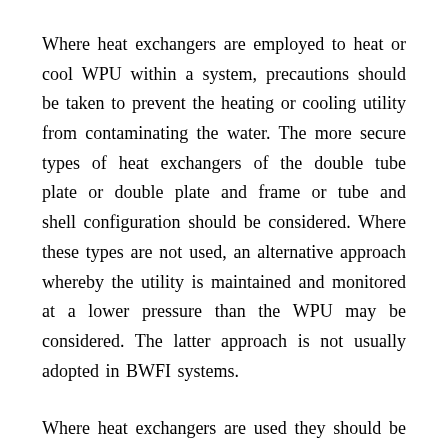Where heat exchangers are employed to heat or cool WPU within a system, precautions should be taken to prevent the heating or cooling utility from contaminating the water. The more secure types of heat exchangers of the double tube plate or double plate and frame or tube and shell configuration should be considered. Where these types are not used, an alternative approach whereby the utility is maintained and monitored at a lower pressure than the WPU may be considered. The latter approach is not usually adopted in BWFI systems.
Where heat exchangers are used they should be arranged in continually circulating loops or addresses of the system to provide acceptable static